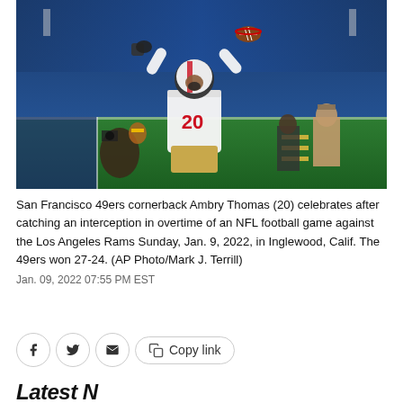[Figure (photo): San Francisco 49ers cornerback Ambry Thomas (20) in white uniform celebrating on the field after catching an interception in overtime, arms raised with a football in one hand, in a packed NFL stadium.]
San Francisco 49ers cornerback Ambry Thomas (20) celebrates after catching an interception in overtime of an NFL football game against the Los Angeles Rams Sunday, Jan. 9, 2022, in Inglewood, Calif. The 49ers won 27-24. (AP Photo/Mark J. Terrill)
Jan. 09, 2022 07:55 PM EST
Latest N...